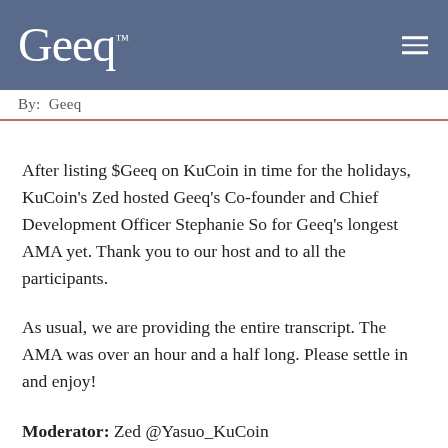Geeq™
By: Geeq
After listing $Geeq on KuCoin in time for the holidays, KuCoin's Zed hosted Geeq's Co-founder and Chief Development Officer Stephanie So for Geeq's longest AMA yet. Thank you to our host and to all the participants.
As usual, we are providing the entire transcript. The AMA was over an hour and a half long. Please settle in and enjoy!
Moderator: Zed @Yasuo_KuCoin